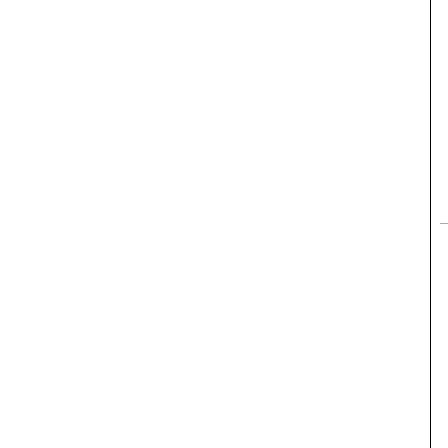Midway MCR 24-pin ribbon cable
[Figure (photo): Photo of a flat gray ribbon cable with black connectors on each end]
SKU: CBLMCR24
Price: $6.95
Board interconnect cables
Add to Cart | More Details
Nintendo Upright Control Panel Harness (Punch-Out!!)
[Figure (photo): Photo of a wire harness with connectors, coiled wiring]
SKU: CHPU-41-11
Price: $24.95
Punchout and Super Punchout 15P control panel harness
Add to Cart | More Details
Nintendo Mario Bros Upright Control Panel Harness
[Figure (photo): Photo of a wire harness with red and blue connectors]
Monito
6 Pin housi
Add
Ninten in
3 Board,
Add
Ms. Pac-m